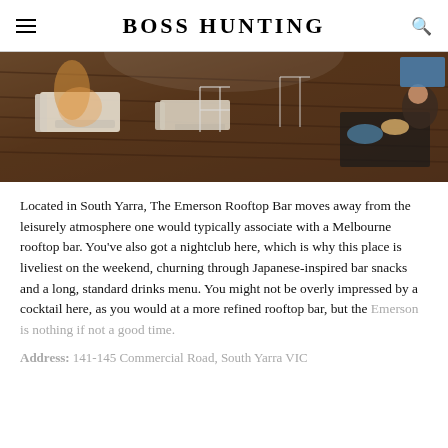BOSS HUNTING
[Figure (photo): Interior of The Emerson Rooftop Bar in South Yarra, showing dark hardwood floors, white lounge furniture, and patrons dining at tables.]
Located in South Yarra, The Emerson Rooftop Bar moves away from the leisurely atmosphere one would typically associate with a Melbourne rooftop bar. You’ve also got a nightclub here, which is why this place is liveliest on the weekend, churning through Japanese-inspired bar snacks and a long, standard drinks menu. You might not be overly impressed by a cocktail here, as you would at a more refined rooftop bar, but the Emerson is nothing if not a good time.
Address: 141-145 Commercial Road, South Yarra VIC